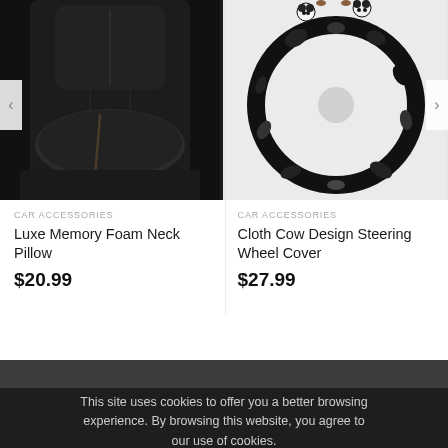[Figure (photo): Luxe Memory Foam Neck Pillow on black leather car seat]
[Figure (photo): Cloth Cow Design Steering Wheel Cover with black and white cow pattern and small plush decorations on top]
CAR ACCESSORIES
Luxe Memory Foam Neck Pillow
$20.99
CAR ACCESSORIES
Cloth Cow Design Steering Wheel Cover
$27.99
This site uses cookies to offer you a better browsing experience. By browsing this website, you agree to our use of cookies.